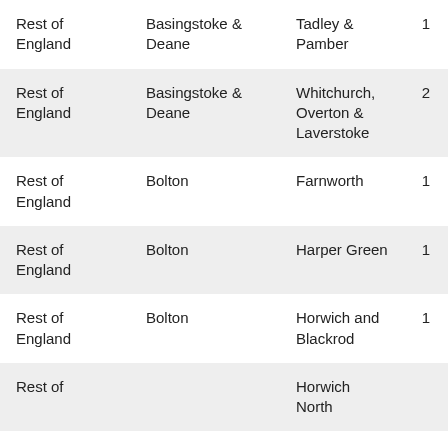| Rest of England | Basingstoke & Deane | Tadley & Pamber | 1 |
| Rest of England | Basingstoke & Deane | Whitchurch, Overton & Laverstoke | 2 |
| Rest of England | Bolton | Farnworth | 1 |
| Rest of England | Bolton | Harper Green | 1 |
| Rest of England | Bolton | Horwich and Blackrod | 1 |
| Rest of England |  | Horwich North |  |